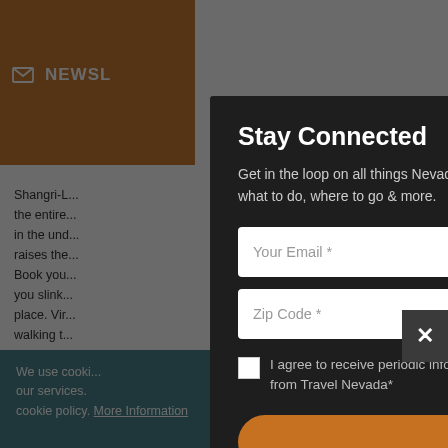NEWSLETTER
Shangri-L... the entire... in the und... raises the... Book you... you slink... place. Vir... walking t... narrative
Or crank i... towering
Stay Connected
Get in the loop on all things Nevada — what to do, where to go & more.
Your Email *
Zip Code *
I agree to receive periodic information from Travel Nevada*
STAY IN THE KNOW
We use cooki... our services. cookie policy. More Information